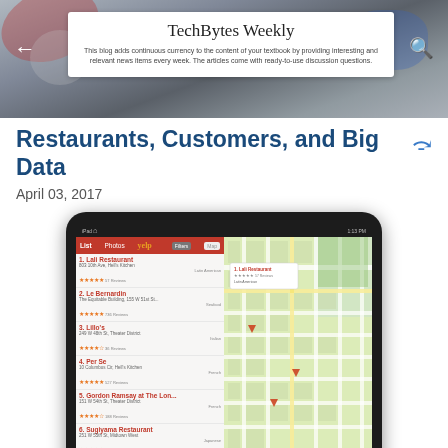[Figure (screenshot): TechBytes Weekly blog header with navigation arrows and search icon overlaid on a blurred mechanical background image. Contains a white bar showing the blog title and description.]
TechBytes Weekly
This blog adds continuous currency to the content of your textbook by providing interesting and relevant news items every week. The articles come with ready-to-use discussion questions.
Restaurants, Customers, and Big Data
April 03, 2017
[Figure (screenshot): Screenshot of a Yelp app on a tablet showing a list of NYC restaurants including Lali Restaurant, Le Bernardin, Lillo's, Per Se, Gordon Ramsay at The Lon..., Sugiyama Restaurant, Guafaguatze, Al Fiori, with star ratings and reviews, alongside a map view of the restaurant locations in Manhattan.]